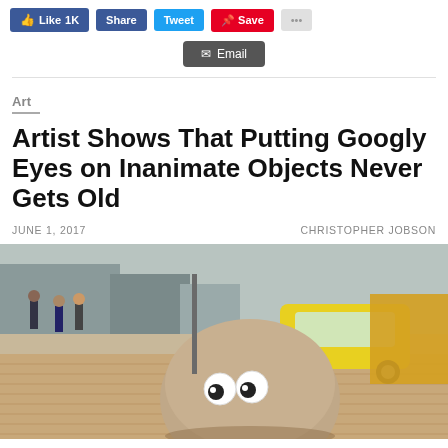Like 1K | Share | Tweet | Save | Email
Art
Artist Shows That Putting Googly Eyes on Inanimate Objects Never Gets Old
JUNE 1, 2017   CHRISTOPHER JOBSON
[Figure (photo): Outdoor photo of large round stone bollards on a brick sidewalk, with googly eyes stuck to the front one in the foreground. A yellow car and pedestrians are visible in the background.]